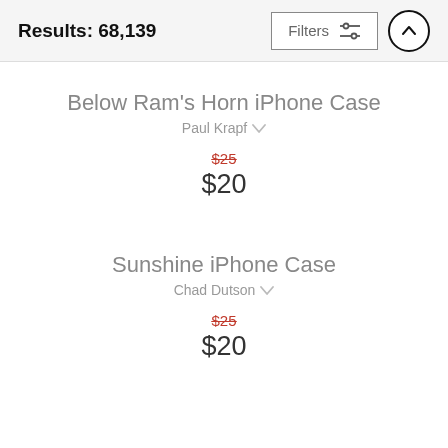Results: 68,139
Below Ram's Horn iPhone Case
Paul Krapf
$25 $20
Sunshine iPhone Case
Chad Dutson
$25 $20